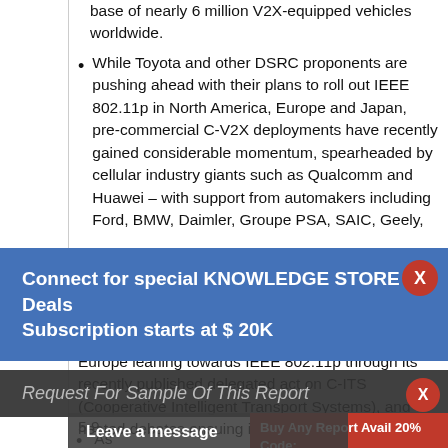base of nearly 6 million V2X-equipped vehicles worldwide.
While Toyota and other DSRC proponents are pushing ahead with their plans to roll out IEEE 802.11p in North America, Europe and Japan, pre-commercial C-V2X deployments have recently gained considerable momentum, spearheaded by cellular industry giants such as Qualcomm and Huawei – with support from automakers including Ford, BMW, Daimler, Groupe PSA, SAIC, Geely,
Connect for special KNOWLEDGE STORE Deals Subscription starts at $ 20K
Europe leaning towards IEEE 802.11p through its recently published delegated act on C-ITS (Cooperative Intelligent Transport Systems), and heated debates ensuing in the United
Request For Sample Of This Report
Buy Any Report Avail 20% Code:
Leave a message
5.9
As